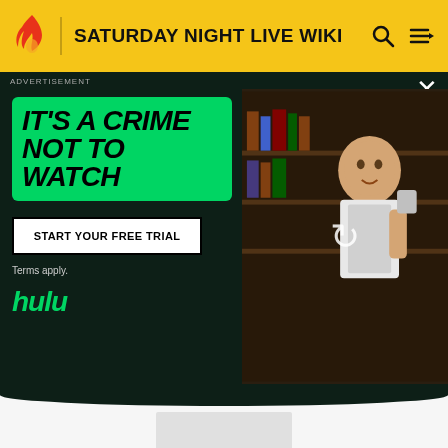SATURDAY NIGHT LIVE WIKI
[Figure (screenshot): Hulu advertisement overlay with green background text 'IT'S A CRIME NOT TO WATCH', a 'START YOUR FREE TRIAL' button, Terms apply text, Hulu logo in green, and a person holding a cup in a library-like setting on the right side. Dark background.]
ADVERTISEMENT
MORE INFORMATION
Top Contributors
Categories